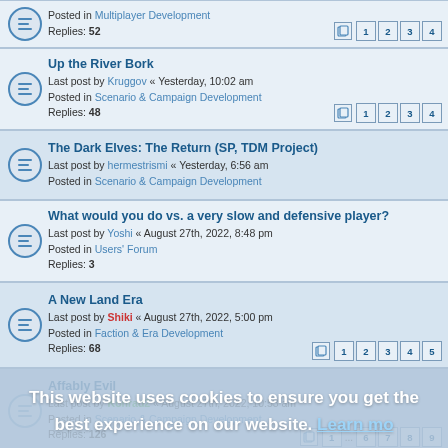Posted in Multiplayer Development
Replies: 52
Pages: 1 2 3 4
Up the River Bork
Last post by Kruggov « Yesterday, 10:02 am
Posted in Scenario & Campaign Development
Replies: 48
Pages: 1 2 3 4
The Dark Elves: The Return (SP, TDM Project)
Last post by hermestrismi « Yesterday, 6:56 am
Posted in Scenario & Campaign Development
What would you do vs. a very slow and defensive player?
Last post by Yoshi « August 27th, 2022, 8:48 pm
Posted in Users' Forum
Replies: 3
A New Land Era
Last post by Shiki « August 27th, 2022, 5:00 pm
Posted in Faction & Era Development
Replies: 68
Pages: 1 2 3 4 5
Affably Evil
Last post by Konrad2 « August 27th, 2022, 10:53 am
Posted in Scenario & Campaign Development
Replies: 126
Pages: 1 ... 6 7 8 9
Pick Your Recruits - Armageddon
Last post by Hejnewar « August 26th, 2022, 8:22 pm
Posted in Faction & Era Development
Replies: 9
Oldschool Browser games?
Last post by wesnoth21 « August 26th, 2022, 6:22 pm